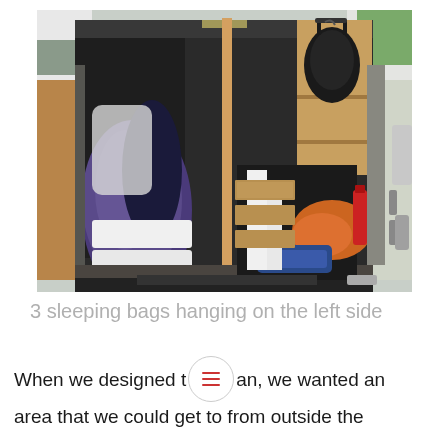[Figure (photo): Interior of a converted van viewed from the open rear doors. The left side shows sleeping bags hanging and white storage containers on the floor. The right side shows a wooden cabinet with a black backpack hanging and orange and blue bags stored below. The van interior has wooden cabinetry with a dark ceiling.]
3 sleeping bags hanging on the left side
When we designed the van, we wanted an area that we could get to from outside the